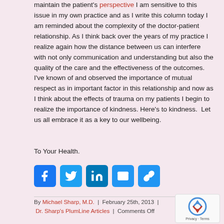maintain the patient's perspective I am sensitive to this issue in my own practice and as I write this column today I am reminded about the complexity of the doctor-patient relationship. As I think back over the years of my practice I realize again how the distance between us can interfere with not only communication and understanding but also the quality of the care and the effectiveness of the outcomes. I've known of and observed the importance of mutual respect as in important factor in this relationship and now as I think about the effects of trauma on my patients I begin to realize the importance of kindness. Here's to kindness.  Let us all embrace it as a key to our wellbeing.
To Your Health.
[Figure (other): Row of five social media sharing icons: Facebook (blue), Twitter (blue), LinkedIn (blue), Email (blue envelope), and a link/copy icon (blue)]
By Michael Sharp, M.D.  |  February 25th, 2013  |  Dr. Sharp's PlumLine Articles  |  Comments Off